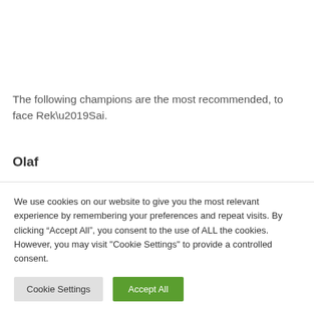The following champions are the most recommended, to face Rek’Sai.
Olaf
Olaf...
We use cookies on our website to give you the most relevant experience by remembering your preferences and repeat visits. By clicking “Accept All”, you consent to the use of ALL the cookies. However, you may visit "Cookie Settings" to provide a controlled consent.